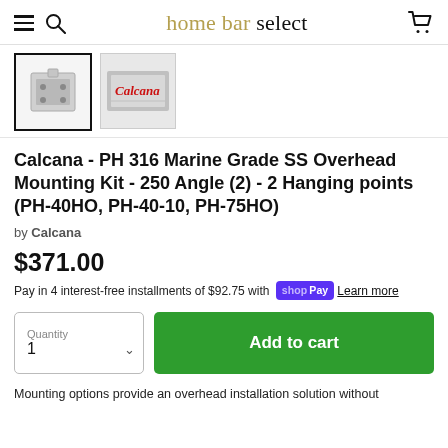home bar select
[Figure (photo): Two product thumbnail images: left shows a grey metal bracket/mounting piece on white background (selected, bold border), right shows a red Calcana logo label on a metallic product]
Calcana - PH 316 Marine Grade SS Overhead Mounting Kit - 250 Angle (2) - 2 Hanging points (PH-40HO, PH-40-10, PH-75HO)
by Calcana
$371.00
Pay in 4 interest-free installments of $92.75 with Shop Pay  Learn more
Quantity 1  Add to cart
Mounting options provide an overhead installation solution without